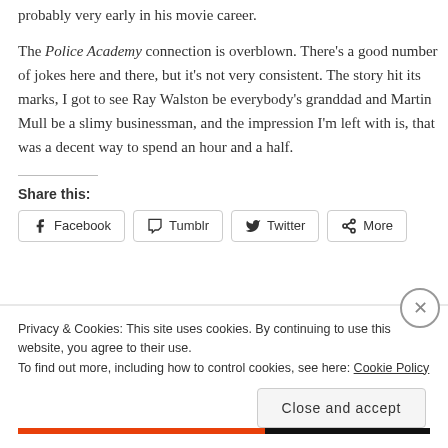probably very early in his movie career.
The Police Academy connection is overblown. There’s a good number of jokes here and there, but it’s not very consistent. The story hit its marks, I got to see Ray Walston be everybody’s granddad and Martin Mull be a slimy businessman, and the impression I’m left with is, that was a decent way to spend an hour and a half.
Share this:
Facebook  Tumblr  Twitter  More
Privacy & Cookies: This site uses cookies. By continuing to use this website, you agree to their use.
To find out more, including how to control cookies, see here: Cookie Policy
Close and accept